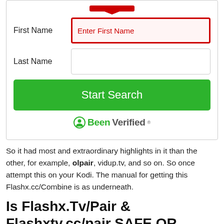[Figure (screenshot): Form with First Name field (red border, placeholder 'Enter First Name'), Last Name field (empty), green 'Start Search' button, and BeenVerified logo]
So it had most and extraordinary highlights in it than the other, for example, olpair, vidup.tv, and so on. So once attempt this on your Kodi. The manual for getting this Flashx.cc/Combine is as underneath.
Is Flashx.Tv/Pair & Flashxtv.cc/pair SAFE OR NOT?